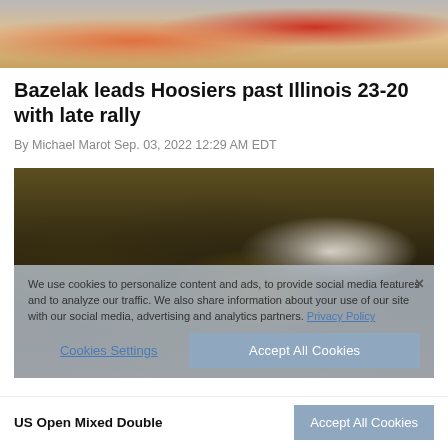[Figure (photo): Top portion of a football game action photo showing players in orange and white uniforms]
Bazelak leads Hoosiers past Illinois 23-20 with late rally
By Michael Marot Sep. 03, 2022 12:29 AM EDT
[Figure (photo): Football game photo showing players in purple and gold uniforms during a play, with a cookie consent overlay]
We use cookies to personalize content and ads, to provide social media features and to analyze our traffic. We also share information about your use of our site with our social media, advertising and analytics partners. Privacy Policy
US Open Mixed Double